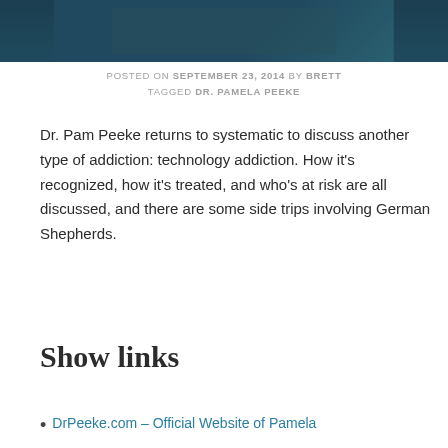[Figure (photo): Dark teal/blue toned header image, appears to be a person or studio scene]
POSTED ON SEPTEMBER 23, 2014 BY BRETT
TAGGED DR. PAMELA PEEKE
Dr. Pam Peeke returns to systematic to discuss another type of addiction: technology addiction. How it's recognized, how it's treated, and who's at risk are all discussed, and there are some side trips involving German Shepherds.
Show links
DrPeeke.com – Official Website of Pamela